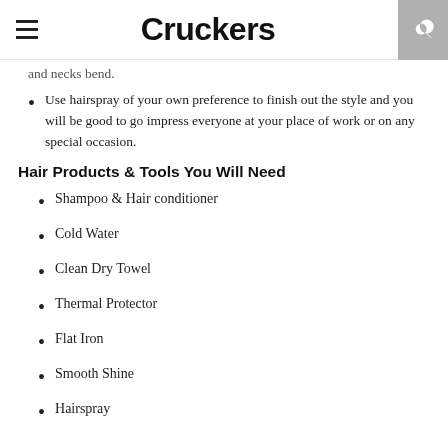Cruckers
and necks bend.
Use hairspray of your own preference to finish out the style and you will be good to go impress everyone at your place of work or on any special occasion.
Hair Products & Tools You Will Need
Shampoo & Hair conditioner
Cold Water
Clean Dry Towel
Thermal Protector
Flat Iron
Smooth Shine
Hairspray